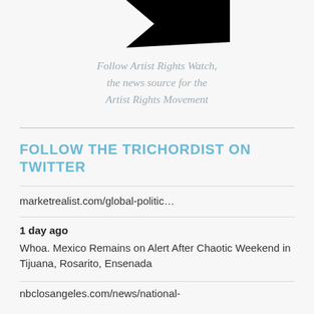[Figure (logo): Artist Rights Watch logo — black angular bird/arrow shape pointing right]
Follow Artist Rights Watch, the news source for the Artist Rights Movement
FOLLOW THE TRICHORDIST ON TWITTER
marketrealist.com/global-politic…
1 day ago
Whoa. Mexico Remains on Alert After Chaotic Weekend in Tijuana, Rosarito, Ensenada
nbclosangeles.com/news/national-